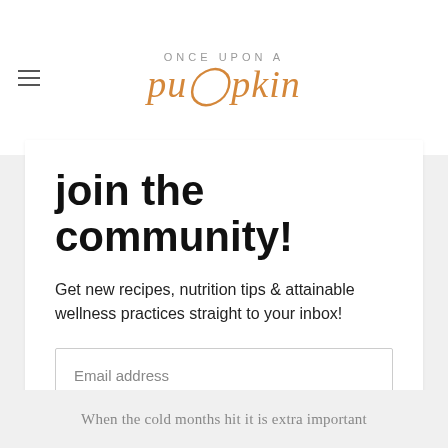ONCE UPON A pumpkin
join the community!
Get new recipes, nutrition tips & attainable wellness practices straight to your inbox!
Email address
Subscribe
When the cold months hit it is extra important